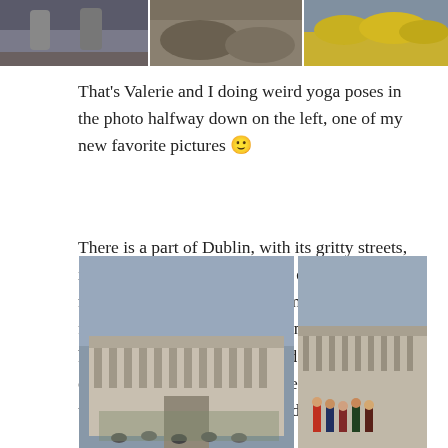[Figure (photo): Three photos at the top: left shows two people doing yoga poses on rocky terrain, middle shows rocky/nature scene, right shows yellow flowers or gorse bushes.]
That's Valerie and I doing weird yoga poses in the photo halfway down on the left, one of my new favorite pictures 🙂
There is a part of Dublin, with its gritty streets, its green plazas, its rolling and quiet beauty, that roars on– a song cemented in my heart. I am forever grateful for the experiences I have had here, shared among friends and mentors, and the opportunity to connect with these brilliant writers, learning from them and their history.
[Figure (photo): Two photos at the bottom: left shows a large historic building (likely Trinity College Dublin) with cloudy sky and people in foreground; right shows a group of people posing in front of a similar historic building courtyard.]